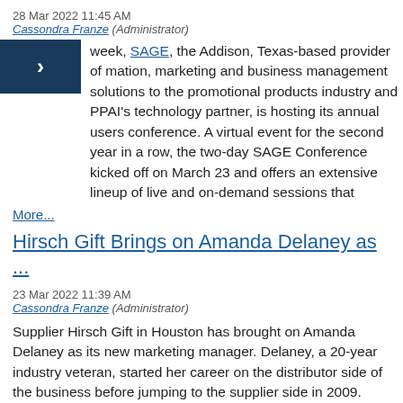28 Mar 2022 11:45 AM
Cassondra Franze (Administrator)
week, SAGE, the Addison, Texas-based provider of mation, marketing and business management solutions to the promotional products industry and PPAI's technology partner, is hosting its annual users conference. A virtual event for the second year in a row, the two-day SAGE Conference kicked off on March 23 and offers an extensive lineup of live and on-demand sessions that
More...
Hirsch Gift Brings on Amanda Delaney as ...
23 Mar 2022 11:39 AM
Cassondra Franze (Administrator)
Supplier Hirsch Gift in Houston has brought on Amanda Delaney as its new marketing manager. Delaney, a 20-year industry veteran, started her career on the distributor side of the business before jumping to the supplier side in 2009.